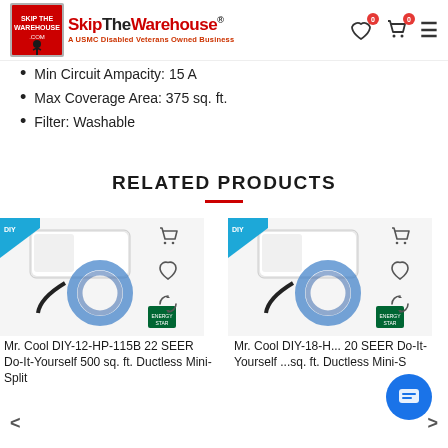[Figure (logo): SkipTheWarehouse logo with mascot soldier graphic and text 'SkipTheWarehouse - A USMC Disabled Veterans Owned Business']
Min Circuit Ampacity: 15 A
Max Coverage Area: 375 sq. ft.
Filter: Washable
RELATED PRODUCTS
[Figure (photo): Mr. Cool DIY-12-HP-115B 22 SEER Do-It-Yourself 500 sq. ft. Ductless Mini-Split product image]
Mr. Cool DIY-12-HP-115B 22 SEER Do-It-Yourself 500 sq. ft. Ductless Mini-Split
[Figure (photo): Mr. Cool DIY-18-H... 20 SEER Do-It-Yourself ...sq. ft. Ductless Mini-S product image]
Mr. Cool DIY-18-H... 20 SEER Do-It-Yourself ...sq. ft. Ductless Mini-S